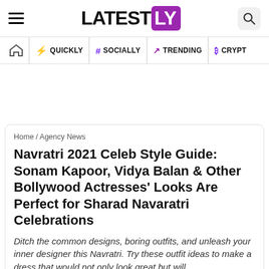LATEST LY — hamburger menu, logo, search icon
Home | QUICKLY | # SOCIALLY | TRENDING | CRYPTO
Navratri 2021 Celeb Style Guide: Sonam Kapoor, Vidya Balan & Other Bollywood Actresses' Looks Are Perfect for Sharad Navaratri Celebrations
Ditch the common designs, boring outfits, and unleash your inner designer this Navratri. Try these outfit ideas to make a dress that would not only look great but will